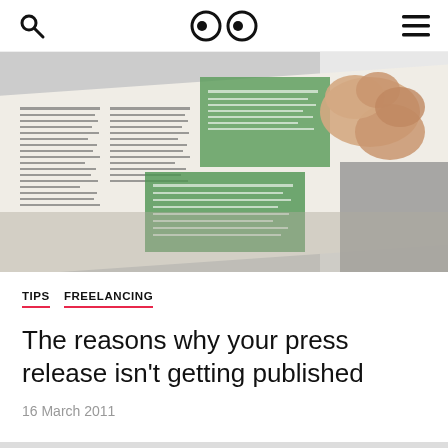search | logo | menu
[Figure (photo): Person holding an open newspaper with green-highlighted sections, photographed from below showing hands and the spread pages against a bright background.]
TIPS   FREELANCING
The reasons why your press release isn't getting published
16 March 2011